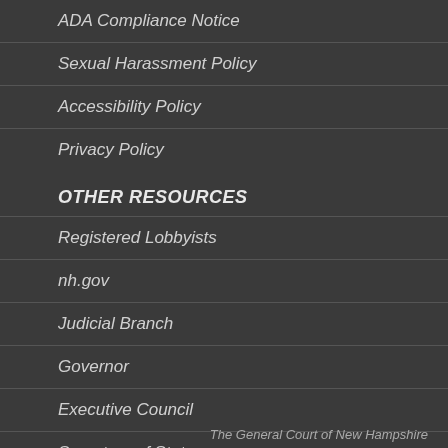ADA Compliance Notice
Sexual Harassment Policy
Accessibility Policy
Privacy Policy
OTHER RESOURCES
Registered Lobbyists
nh.gov
Judicial Branch
Governor
Executive Council
Secretary of State
The General Court of New Hampshire